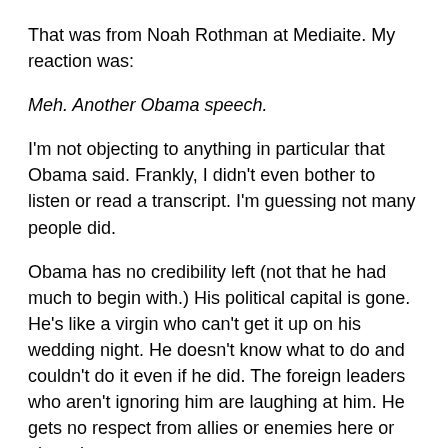That was from Noah Rothman at Mediaite. My reaction was:
Meh. Another Obama speech.
I'm not objecting to anything in particular that Obama said. Frankly, I didn't even bother to listen or read a transcript. I'm guessing not many people did.
Obama has no credibility left (not that he had much to begin with.) His political capital is gone. He's like a virgin who can't get it up on his wedding night. He doesn't know what to do and couldn't do it even if he did. The foreign leaders who aren't ignoring him are laughing at him. He gets no respect from allies or enemies here or abroad.
Ducks don't get any lamer than Obama. His is a failed presidency. Unfortunately it still has nearly three full years